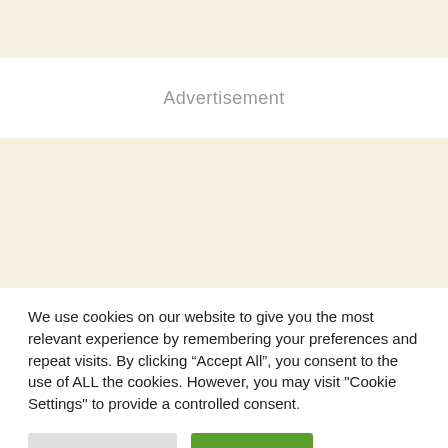[Figure (other): Top beige/cream colored banner area]
Advertisement
[Figure (other): Large beige/cream colored advertisement placeholder banner]
We use cookies on our website to give you the most relevant experience by remembering your preferences and repeat visits. By clicking “Accept All”, you consent to the use of ALL the cookies. However, you may visit "Cookie Settings" to provide a controlled consent.
Cookie Settings
Accept All